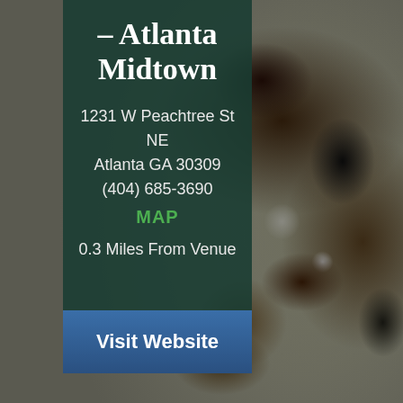[Figure (photo): Blurred dark rocky/mossy outdoor background texture filling the right portion of the page]
– Atlanta Midtown
1231 W Peachtree St NE
Atlanta GA 30309
(404) 685-3690
MAP
0.3 Miles From Venue
Visit Website